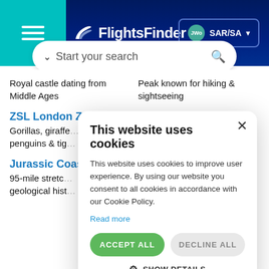FlightsFinder — SAR/SA
Start your search
Royal castle dating from Middle Ages
Peak known for hiking & sightseeing
ZSL London Zo...
Gorillas, giraffe... penguins & tig...
Jurassic Coas...
95-mile stretc... geological hist...
This website uses cookies
This website uses cookies to improve user experience. By using our website you consent to all cookies in accordance with our Cookie Policy.
Read more
ACCEPT ALL
DECLINE ALL
SHOW DETAILS